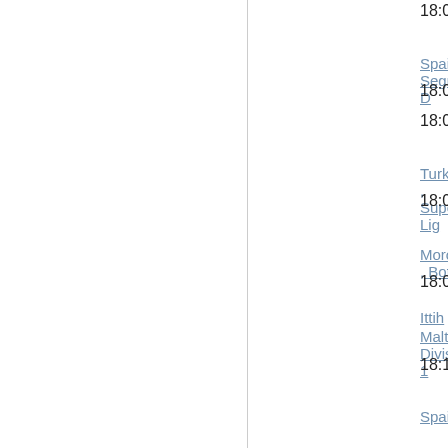18:00
Spain , Segunda D
18:00
18:00
Turkey , Super Lig
18:00
Morocco , Botola
18:05   Ittih
Malta , Division 1
18:15
Spain , Segunda D
18:15
Ecuador , Serie A
18:30